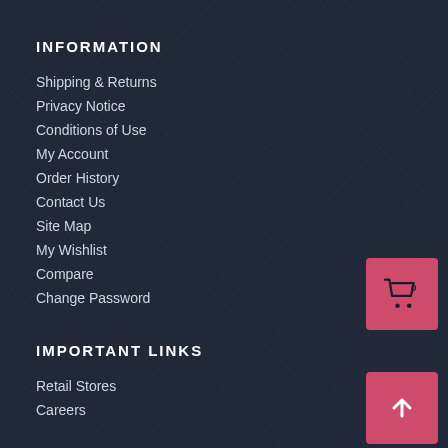INFORMATION
Shipping & Returns
Privacy Notice
Conditions of Use
My Account
Order History
Contact Us
Site Map
My Wishlist
Compare
Change Password
[Figure (illustration): Pink/red shopping cart button with cart icon and 0 badge, positioned top-right]
IMPORTANT LINKS
[Figure (illustration): Pink/red scroll-to-top button with upward arrow icon, positioned bottom-right]
Retail Stores
Careers